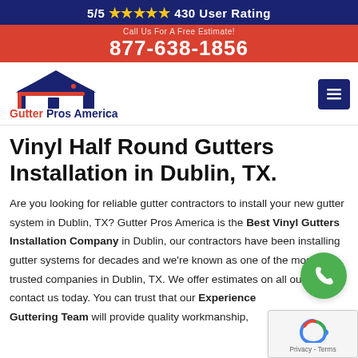5/5 ★★★★★ 430 User Rating
877-638-1856
[Figure (logo): Gutter Pros America logo with house/gutter icon and company name]
Vinyl Half Round Gutters Installation in Dublin, TX.
Are you looking for reliable gutter contractors to install your new gutter system in Dublin, TX? Gutter Pros America is the Best Vinyl Gutters Installation Company in Dublin, our contractors have been installing gutter systems for decades and we're known as one of the most trusted companies in Dublin, TX. We offer estimates on all our so contact us today. You can trust that our Experienced Guttering Team will provide quality workmanship,